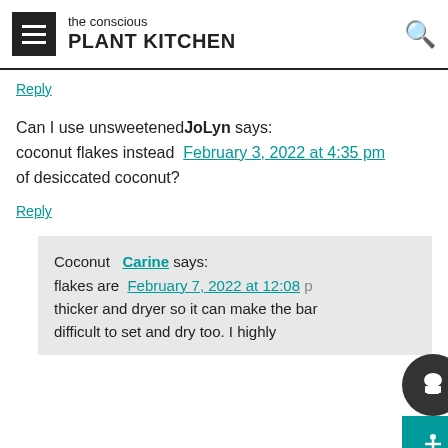the conscious PLANT KITCHEN
Reply
Can I use unsweetened coconut flakes instead of desiccated coconut?
JoLyn says: February 3, 2022 at 4:35 pm
Reply
Carine says: February 7, 2022 at 12:08
Coconut flakes are thicker and dryer so it can make the bar difficult to set and dry too. I highly